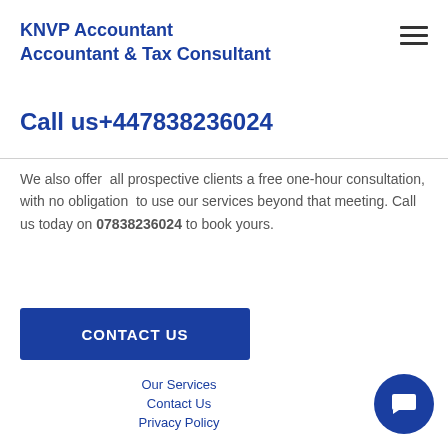KNVP Accountant
Accountant & Tax Consultant
Call us+447838236024
We also offer  all prospective clients a free one-hour consultation, with no obligation  to use our services beyond that meeting. Call us today on 07838236024 to book yours.
CONTACT US
Our Services
Contact Us
Privacy Policy